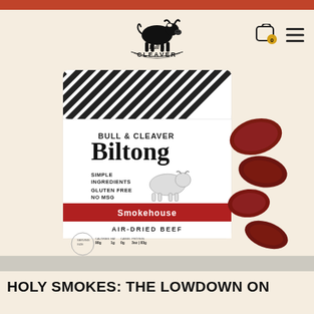Bull & Cleaver — website header with logo, cart (0), and menu
[Figure (photo): A bag of Bull & Cleaver Biltong Smokehouse flavor — air-dried beef snack with a white and black chevron-patterned top, red flavor band reading 'Smokehouse', and text: BULL & CLEAVER Biltong, SIMPLE INGREDIENTS, GLUTEN FREE, NO MSG, AIR-DRIED BEEF. Pieces of dried meat are scattered to the right of the bag.]
HOLY SMOKES: THE LOWDOWN ON